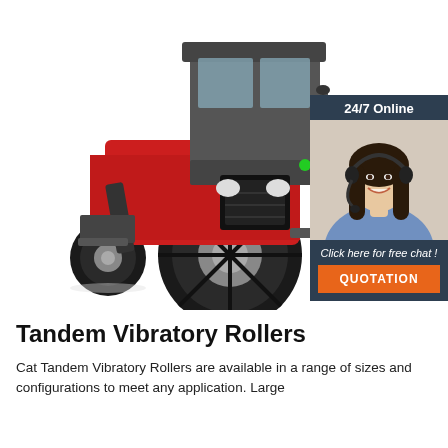[Figure (photo): Red agricultural tractor with enclosed cab, large rear tyres and front loader attachment, photographed on white background]
[Figure (photo): 24/7 online chat widget with dark blue header reading '24/7 Online', photo of a smiling female customer service agent wearing a headset, text 'Click here for free chat!' and an orange QUOTATION button]
Tandem Vibratory Rollers
Cat Tandem Vibratory Rollers are available in a range of sizes and configurations to meet any application. Large